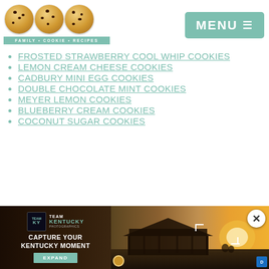FAMILY • COOKIE • RECIPES | MENU
FROSTED STRAWBERRY COOL WHIP COOKIES
LEMON CREAM CHEESE COOKIES
CADBURY MINI EGG COOKIES
DOUBLE CHOCOLATE MINT COOKIES
MEYER LEMON COOKIES
BLUEBERRY CREAM COOKIES
COCONUT SUGAR COOKIES
[Figure (photo): Advertisement banner for Team Kentucky featuring a gazebo silhouette at sunset with text 'Capture Your Kentucky Moment' and an Expand button]